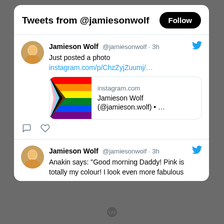Tweets from @jamiesonwolf
Jamieson Wolf @jamiesonwolf · 3h
Just posted a photo
instagram.com/p/ChzZyjZuumj/...
[Figure (screenshot): Instagram link preview card showing progress pride flag image with text: instagram.com, Jamieson Wolf (@jamieson.wolf) • ...]
Jamieson Wolf @jamiesonwolf · 3h
Anakin says: "Good morning Daddy! Pink is totally my colour! I look even more fabulous
WordPress logo